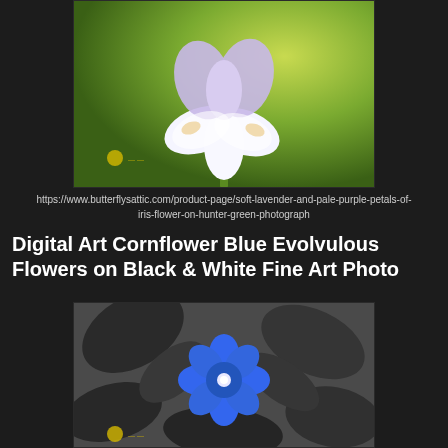[Figure (photo): Iris flower with white and soft lavender/purple petals against a hunter green background, with a small watermark in the lower left]
https://www.butterflysattic.com/product-page/soft-lavender-and-pale-purple-petals-of-iris-flower-on-hunter-green-photograph
Digital Art Cornflower Blue Evolvulous Flowers on Black & White Fine Art Photo
[Figure (photo): Black and white photo of leaves and foliage with a single vivid cornflower blue evolvulous flower in the center, small watermark at bottom left]